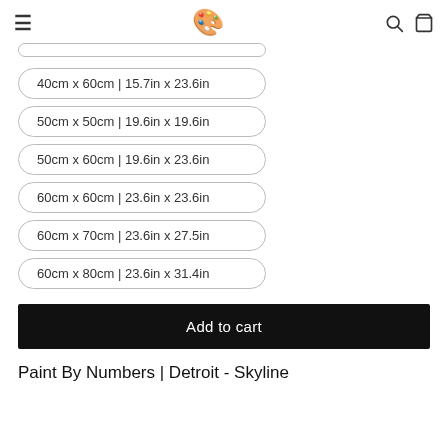≡  🎨  🔍  🛍
40cm x 60cm | 15.7in x 23.6in
50cm x 50cm | 19.6in x 19.6in
50cm x 60cm | 19.6in x 23.6in
60cm x 60cm | 23.6in x 23.6in
60cm x 70cm | 23.6in x 27.5in
60cm x 80cm | 23.6in x 31.4in
Add to cart
Paint By Numbers | Detroit - Skyline